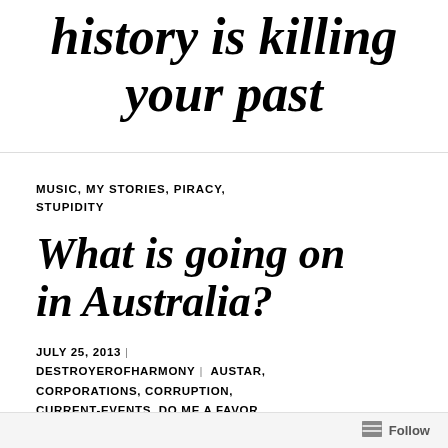history is killing your past
MUSIC, MY STORIES, PIRACY, STUPIDITY
What is going on in Australia?
JULY 25, 2013 | DESTROYEROFHARMONY | AUSTAR, CORPORATIONS, CORRUPTION, CURRENT-EVENTS, DO ME A FAVOR, FOXTEL, GAME OF THRONES,
Follow